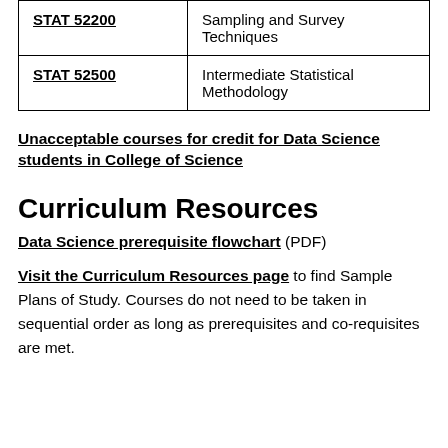| Course | Title |
| --- | --- |
| STAT 52200 | Sampling and Survey Techniques |
| STAT 52500 | Intermediate Statistical Methodology |
Unacceptable courses for credit for Data Science students in College of Science
Curriculum Resources
Data Science prerequisite flowchart (PDF)
Visit the Curriculum Resources page to find Sample Plans of Study. Courses do not need to be taken in sequential order as long as prerequisites and co-requisites are met.